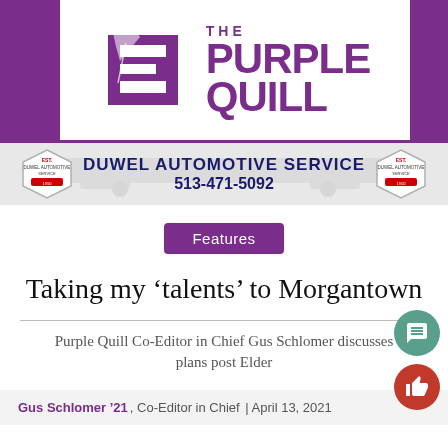[Figure (logo): The Purple Quill newspaper logo with E emblem and feather quill, purple color scheme]
[Figure (infographic): Duwel Automotive Service advertisement banner with logo badges on each side, phone number 513-471-5092]
Features
Taking my ‘talents’ to Morgantown
Purple Quill Co-Editor in Chief Gus Schlomer discusses plans post Elder
Gus Schlomer ’21, Co-Editor in Chief | April 13, 2021